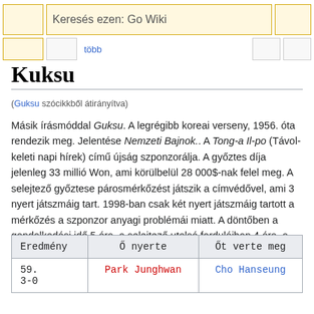Keresés ezen: Go Wiki | több
Kuksu
(Guksu szócikkből átirányítva)
Másik írásmóddal Guksu. A legrégibb koreai verseny, 1956. óta rendezik meg. Jelentése Nemzeti Bajnok.. A Tong-a Il-po (Távol-keleti napi hírek) című újság szponzorálja. A győztes díja jelenleg 33 millió Won, ami körülbelül 28 000$-nak felel meg. A selejtező győztese párosmérkőzést játszik a címvédővel, ami 3 nyert játszmáig tart. 1998-ban csak két nyert játszmáig tartott a mérkőzés a szponzor anyagi problémái miatt. A döntőben a gondolkodási idő 5 óra, a selejtező utolsó fordulóiban 4 óra, a korábbi fordulókban 3 óra.
| Eredmény | Ő nyerte | Őt verte meg |
| --- | --- | --- |
| 59.
3-0 | Park Junghwan | Cho Hanseung |